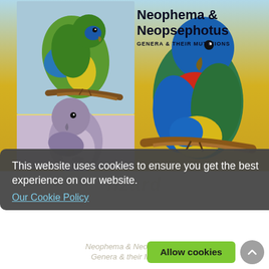[Figure (photo): Book cover for 'Neophema & Neopsephotus Genera & Their Mutations' showing three parrots: a green-blue-yellow parrot on top left, a grey/pink parrot on bottom left, and a large colorful parrot with blue head, red chest, green wings and yellow belly on a branch at right. Gradient background in blues and yellows.]
Neophema & Neopsephotus GENERA & THEIR MUTATIONS
This website uses cookies to ensure you get the best experience on our website. Our Cookie Policy
Decline All  Allow cookies
Neophema & Neopsephotus Genera & their Mutations